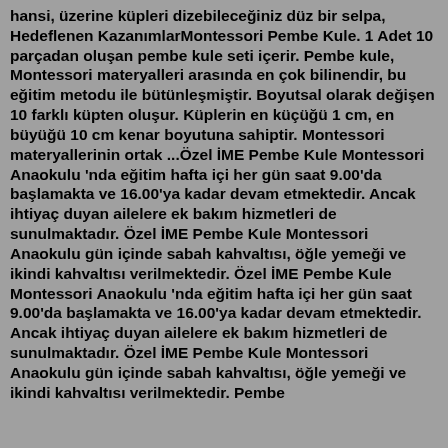hansi, üzerine küpleri dizebileceğiniz düz bir selpa, Hedeflenen KazanımlarMontessori Pembe Kule. 1 Adet 10 parçadan oluşan pembe kule seti içerir. Pembe kule, Montessori materyalleri arasında en çok bilinendir, bu eğitim metodu ile bütünleşmiştir. Boyutsal olarak değişen 10 farklı küpten oluşur. Küplerin en küçüğü 1 cm, en büyüğü 10 cm kenar boyutuna sahiptir. Montessori materyallerinin ortak ...Özel İME Pembe Kule Montessori Anaokulu 'nda eğitim hafta içi her gün saat 9.00'da başlamakta ve 16.00'ya kadar devam etmektedir. Ancak ihtiyaç duyan ailelere ek bakım hizmetleri de sunulmaktadır. Özel İME Pembe Kule Montessori Anaokulu gün içinde sabah kahvaltısı, öğle yemeği ve ikindi kahvaltısı verilmektedir. Özel İME Pembe Kule Montessori Anaokulu 'nda eğitim hafta içi her gün saat 9.00'da başlamakta ve 16.00'ya kadar devam etmektedir. Ancak ihtiyaç duyan ailelere ek bakım hizmetleri de sunulmaktadır. Özel İME Pembe Kule Montessori Anaokulu gün içinde sabah kahvaltısı, öğle yemeği ve ikindi kahvaltısı verilmektedir. Pembe